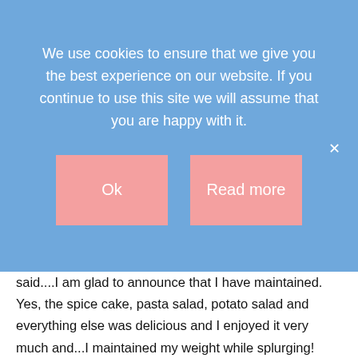We use cookies to ensure that we give you the best experience on our website. If you continue to use this site we will assume that you are happy with it.
Ok
Read more
said....I am glad to announce that I have maintained. Yes, the spice cake, pasta salad, potato salad and everything else was delicious and I enjoyed it very much and...I maintained my weight while splurging!
I also started a new job this week, I am filling in for our church office manager for the summer, so that means 24 more hours a week of mostly sitting! I try to get up and move around the office at least every hour but it is tricky. This also means I am trying to fit exercising in to my new schedule.